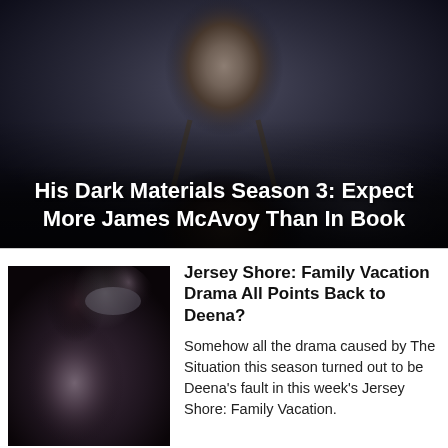[Figure (photo): Cinematic dark scene with a man (James McAvoy) looking intensely at camera, moody lighting, dark background with distant city lights]
His Dark Materials Season 3: Expect More James McAvoy Than In Book
[Figure (photo): Dark scene showing a woman with long dark hair raising her arm, concert or club setting, low lighting]
Jersey Shore: Family Vacation Drama All Points Back to Deena?
Somehow all the drama caused by The Situation this season turned out to be Deena's fault in this week's Jersey Shore: Family Vacation.